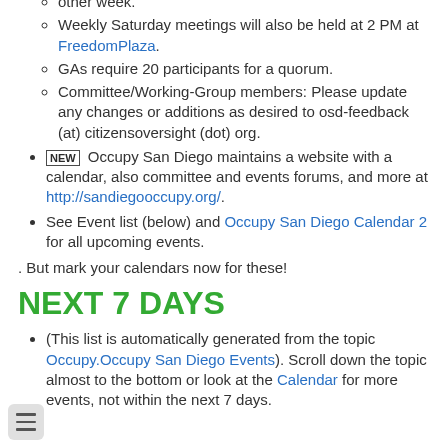other week.
Weekly Saturday meetings will also be held at 2 PM at FreedomPlaza.
GAs require 20 participants for a quorum.
Committee/Working-Group members: Please update any changes or additions as desired to osd-feedback (at) citizensoversight (dot) org.
NEW Occupy San Diego maintains a website with a calendar, also committee and events forums, and more at http://sandiegooccupy.org/.
See Event list (below) and Occupy San Diego Calendar 2 for all upcoming events.
. But mark your calendars now for these!
NEXT 7 DAYS
(This list is automatically generated from the topic Occupy.Occupy San Diego Events). Scroll down the topic almost to the bottom or look at the Calendar for more events, not within the next 7 days.